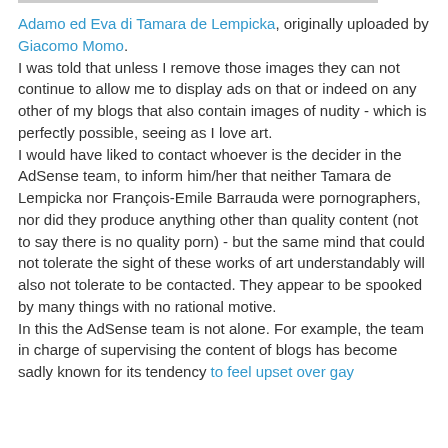Adamo ed Eva di Tamara de Lempicka, originally uploaded by Giacomo Momo.
I was told that unless I remove those images they can not continue to allow me to display ads on that or indeed on any other of my blogs that also contain images of nudity - which is perfectly possible, seeing as I love art.
I would have liked to contact whoever is the decider in the AdSense team, to inform him/her that neither Tamara de Lempicka nor François-Emile Barrauda were pornographers, nor did they produce anything other than quality content (not to say there is no quality porn) - but the same mind that could not tolerate the sight of these works of art understandably will also not tolerate to be contacted. They appear to be spooked by many things with no rational motive.
In this the AdSense team is not alone. For example, the team in charge of supervising the content of blogs has become sadly known for its tendency to feel upset over gay